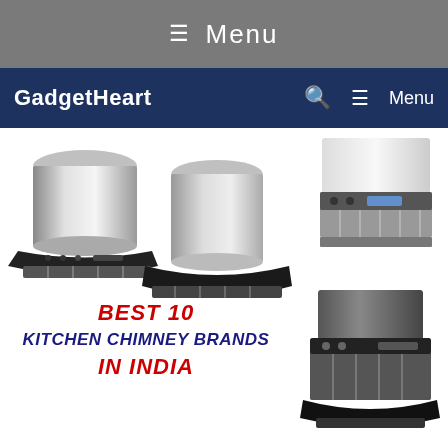≡ Menu
GadgetHeart  🔍  ≡ Menu
[Figure (photo): Three kitchen chimney/range hood appliances displayed side by side, plus one in the lower right corner. Stainless steel and black finishes.]
BEST 10 KITCHEN CHIMNEY BRANDS IN INDIA